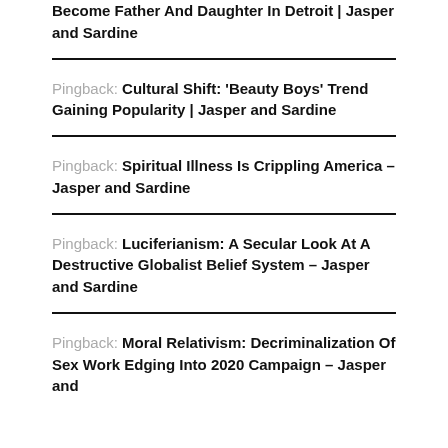Become Father And Daughter In Detroit | Jasper and Sardine
Pingback: Cultural Shift: ‘Beauty Boys’ Trend Gaining Popularity | Jasper and Sardine
Pingback: Spiritual Illness Is Crippling America – Jasper and Sardine
Pingback: Luciferianism: A Secular Look At A Destructive Globalist Belief System – Jasper and Sardine
Pingback: Moral Relativism: Decriminalization Of Sex Work Edging Into 2020 Campaign – Jasper and